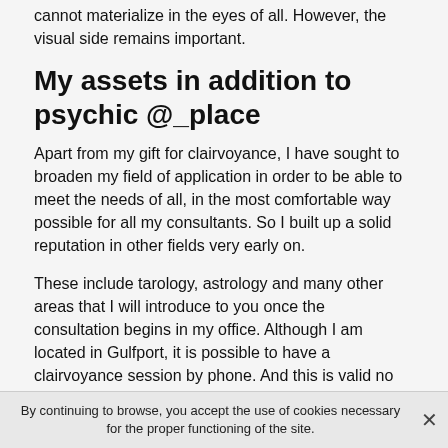cannot materialize in the eyes of all. However, the visual side remains important.
My assets in addition to psychic @_place
Apart from my gift for clairvoyance, I have sought to broaden my field of application in order to be able to meet the needs of all, in the most comfortable way possible for all my consultants. So I built up a solid reputation in other fields very early on.
These include tarology, astrology and many other areas that I will introduce to you once the consultation begins in my office. Although I am located in Gulfport, it is possible to have a clairvoyance session by phone. And this is valid no matter from which city you call me.
The clairvoyance by phone: to learn more
By continuing to browse, you accept the use of cookies necessary for the proper functioning of the site.